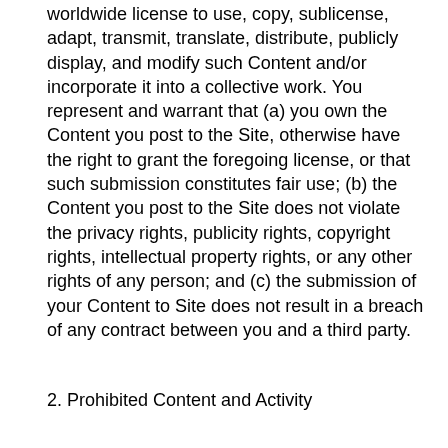worldwide license to use, copy, sublicense, adapt, transmit, translate, distribute, publicly display, and modify such Content and/or incorporate it into a collective work. You represent and warrant that (a) you own the Content you post to the Site, otherwise have the right to grant the foregoing license, or that such submission constitutes fair use; (b) the Content you post to the Site does not violate the privacy rights, publicity rights, copyright rights, intellectual property rights, or any other rights of any person; and (c) the submission of your Content to Site does not result in a breach of any contract between you and a third party.
2. Prohibited Content and Activity